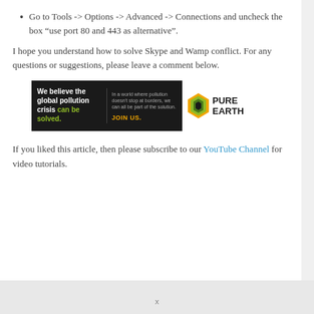Go to Tools -> Options -> Advanced -> Connections and uncheck the box “use port 80 and 443 as alternative”.
I hope you understand how to solve Skype and Wamp conflict. For any questions or suggestions, please leave a comment below.
[Figure (infographic): Pure Earth advertisement banner. Left dark panel reads 'We believe the global pollution crisis can be solved.' in white and green text. Right section reads 'In a world where pollution doesn't stop at borders, we can all be part of the solution. JOIN US.' Followed by Pure Earth logo with diamond icon.]
If you liked this article, then please subscribe to our YouTube Channel for video tutorials.
x